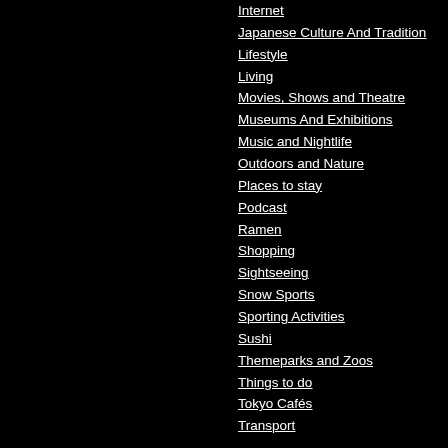Internet
Japanese Culture And Tradition
Lifestyle
Living
Movies, Shows and Theatre
Museums And Exhibitions
Music and Nightlife
Outdoors and Nature
Places to stay
Podcast
Ramen
Shopping
Sightseeing
Snow Sports
Sporting Activities
Sushi
Themeparks and Zoos
Things to do
Tokyo Cafés
Transport